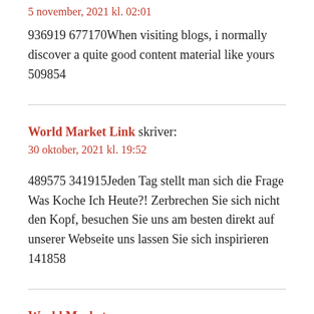5 november, 2021 kl. 02:01
936919 677170When visiting blogs, i normally discover a quite good content material like yours 509854
World Market Link skriver:
30 oktober, 2021 kl. 19:52
489575 341915Jeden Tag stellt man sich die Frage Was Koche Ich Heute?! Zerbrechen Sie sich nicht den Kopf, besuchen Sie uns am besten direkt auf unserer Webseite uns lassen Sie sich inspirieren 141858
World Market...